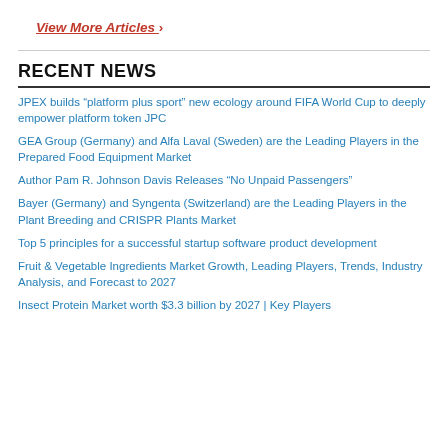View More Articles >
RECENT NEWS
JPEX builds “platform plus sport” new ecology around FIFA World Cup to deeply empower platform token JPC
GEA Group (Germany) and Alfa Laval (Sweden) are the Leading Players in the Prepared Food Equipment Market
Author Pam R. Johnson Davis Releases “No Unpaid Passengers”
Bayer (Germany) and Syngenta (Switzerland) are the Leading Players in the Plant Breeding and CRISPR Plants Market
Top 5 principles for a successful startup software product development
Fruit & Vegetable Ingredients Market Growth, Leading Players, Trends, Industry Analysis, and Forecast to 2027
Insect Protein Market worth $3.3 billion by 2027 | Key Players